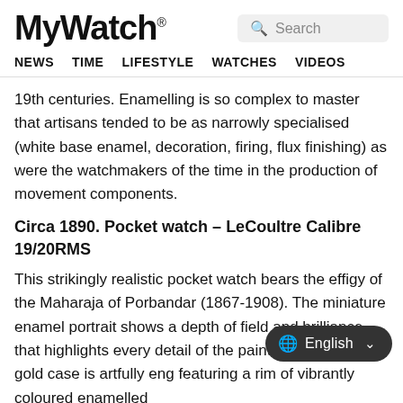MyWatch® NEWS TIME LIFESTYLE WATCHES VIDEOS
19th centuries. Enamelling is so complex to master that artisans tended to be as narrowly specialised (white base enamel, decoration, firing, flux finishing) as were the watchmakers of the time in the production of movement components.
Circa 1890. Pocket watch – LeCoultre Calibre 19/20RMS
This strikingly realistic pocket watch bears the effigy of the Maharaja of Porbandar (1867-1908). The miniature enamel portrait shows a depth of field and brilliance that highlights every detail of the painting. The yellow gold case is artfully eng featuring a rim of vibrantly coloured enamelled